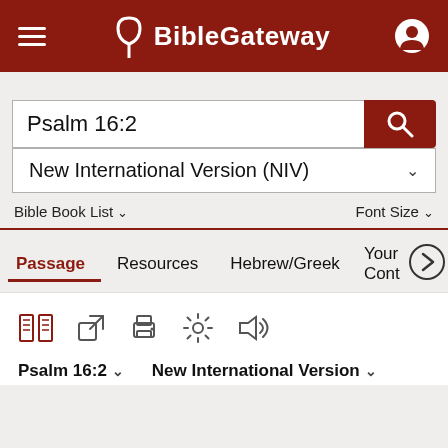BibleGateway
Psalm 16:2
New International Version (NIV)
Bible Book List   Font Size
Passage   Resources   Hebrew/Greek   Your Cont
Psalm 16:2   New International Version